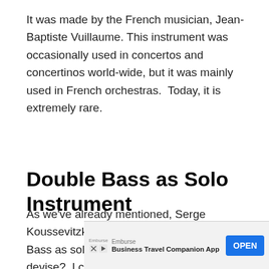It was made by the French musician, Jean-Baptiste Vuillaume. This instrument was occasionally used in concertos and concertinos world-wide, but it was mainly used in French orchestras.  Today, it is extremely rare.
Double Bass as Solo Instrument
As we've already mentioned, Serge Koussevitzky devised a way to play Double Bass as solo instrument [What way did he devise?  I could not find anything on this device?  I could not find anything on this anyway so